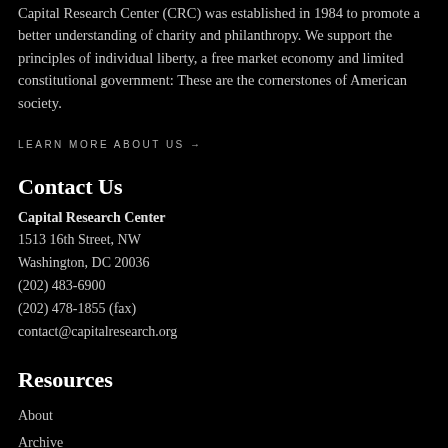Capital Research Center (CRC) was established in 1984 to promote a better understanding of charity and philanthropy. We support the principles of individual liberty, a free market economy and limited constitutional government: These are the cornerstones of American society.
LEARN MORE ABOUT US →
Contact Us
Capital Research Center
1513 16th Street, NW
Washington, DC 20036
(202) 483-6900
(202) 478-1855 (fax)
contact@capitalresearch.org
Resources
About
Archive